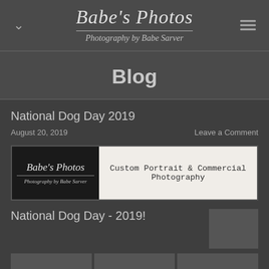Babe's Photos — Photography by Babe Sarver
Blog
National Dog Day 2019
August 20, 2019
Leave a Comment
[Figure (logo): Babe's Photos logo banner with left black panel showing logo and right light panel reading 'Custom Portrait & Commercial Photography']
National Dog Day - 2019!
[Figure (photo): Small thumbnail photo partially visible on right side]
[Figure (photo): Three small thumbnail photos at the bottom of the page]